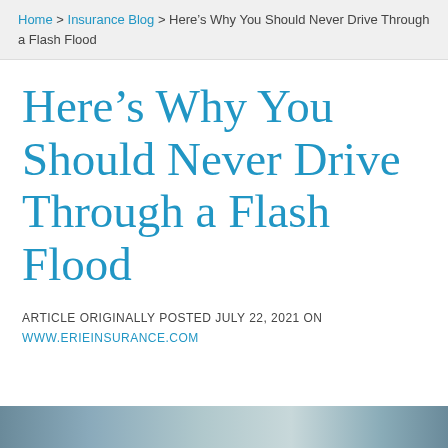Home > Insurance Blog > Here's Why You Should Never Drive Through a Flash Flood
Here's Why You Should Never Drive Through a Flash Flood
ARTICLE ORIGINALLY POSTED JULY 22, 2021 ON WWW.ERIEINSURANCE.COM
[Figure (photo): Partial photo strip at bottom of page, appears to show a flooded road or vehicle in water]